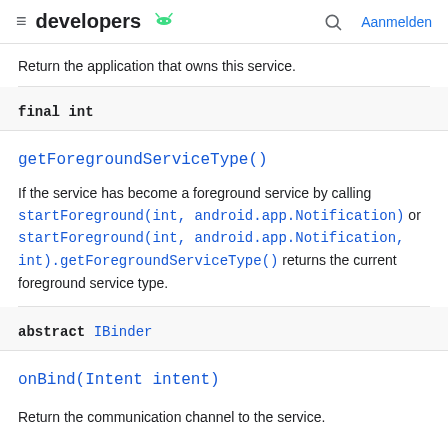developers [android logo] [search] Aanmelden
Return the application that owns this service.
final int
getForegroundServiceType()
If the service has become a foreground service by calling startForeground(int, android.app.Notification) or startForeground(int, android.app.Notification, int).getForegroundServiceType() returns the current foreground service type.
abstract IBinder
onBind(Intent intent)
Return the communication channel to the service.